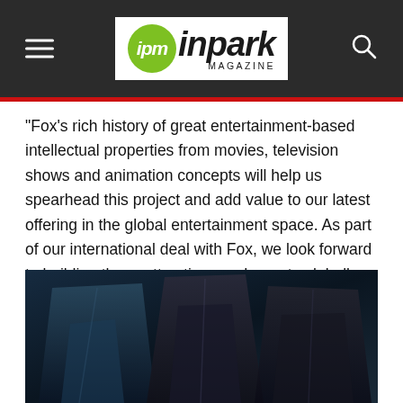ipm inpark MAGAZINE
“Fox’s rich history of great entertainment-based intellectual properties from movies, television shows and animation concepts will help us spearhead this project and add value to our latest offering in the global entertainment space. As part of our international deal with Fox, we look forward to building these attractions and resorts globally starting with Dubai as the first location and additional Fox branded resorts that we hope to open across other territories in the future,” added Khammas about AAHG’s deal with Fox.
[Figure (photo): Dark dramatic image of costumed or armored figures, likely themed entertainment characters, against a dark blue background]